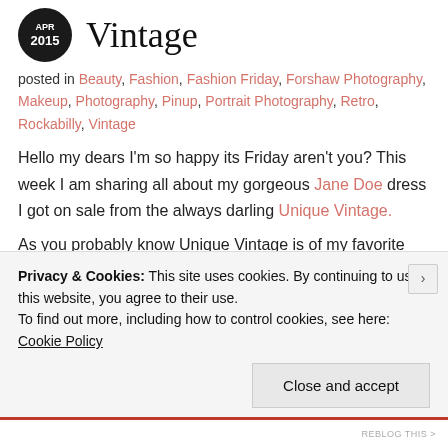Vintage
posted in Beauty, Fashion, Fashion Friday, Forshaw Photography, Makeup, Photography, Pinup, Portrait Photography, Retro, Rockabilly, Vintage
Hello my dears I'm so happy its Friday aren't you? This week I am sharing all about my gorgeous Jane Doe dress I got on sale from the always darling Unique Vintage.
As you probably know Unique Vintage is of my favorite companies, the variety of stock they carry is unbelievable, their customer service is extraordinary, and there is always some sort of sale happening. But more than that this company has a beautiful soul, I've never seen
Privacy & Cookies: This site uses cookies. By continuing to use this website, you agree to their use.
To find out more, including how to control cookies, see here: Cookie Policy